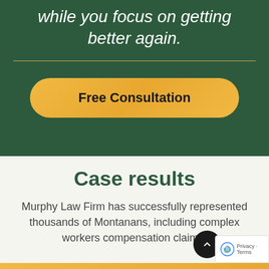while you focus on getting better again.
[Figure (other): Gold horizontal divider line on dark green background]
[Figure (other): Gold rounded button labeled 'Free Consultation' on dark green background]
Case results
Murphy Law Firm has successfully represented thousands of Montanans, including complex workers compensation claims.